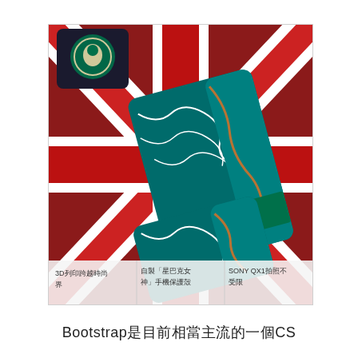[Figure (photo): Photo of Starbucks Anniversary edition phone cases laid on a Union Jack (UK flag) background. The cases feature decorative swirl patterns in teal and brown with 'STARBUCKS ANNIVERSARY' text. A Starbucks logo is visible in the top left. Thumbnail overlays at the bottom show related articles in Chinese: '3D列印跨越時尚界', '自製「星巴克女神」手機保護殼', 'SONY QX1拍照不受限'.]
Bootstrap是目前相當主流的一個CS